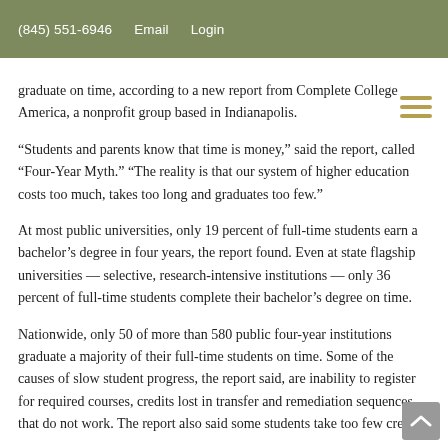(845) 551-6946   Email   Login
graduate on time, according to a new report from Complete College America, a nonprofit group based in Indianapolis.
“Students and parents know that time is money,” said the report, called “Four-Year Myth.” “The reality is that our system of higher education costs too much, takes too long and graduates too few.”
At most public universities, only 19 percent of full-time students earn a bachelor’s degree in four years, the report found. Even at state flagship universities — selective, research-intensive institutions — only 36 percent of full-time students complete their bachelor’s degree on time.
Nationwide, only 50 of more than 580 public four-year institutions graduate a majority of their full-time students on time. Some of the causes of slow student progress, the report said, are inability to register for required courses, credits lost in transfer and remediation sequences that do not work. The report also said some students take too few credits